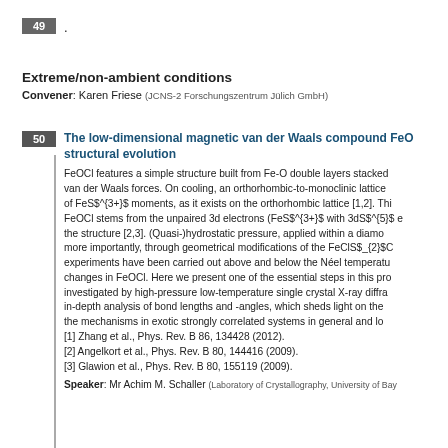49 .
Extreme/non-ambient conditions
Convener: Karen Friese (JCNS-2 Forschungszentrum Jülich GmbH)
50 The low-dimensional magnetic van der Waals compound FeOCl structural evolution
FeOCl features a simple structure built from Fe-O double layers stacked van der Waals forces. On cooling, an orthorhombic-to-monoclinic lattice of FeS^{3+}$ moments, as it exists on the orthorhombic lattice [1,2]. Thi FeOCl stems from the unpaired 3d electrons (FeS^{3+}$ with 3dS^{5}$ e the structure [2,3]. (Quasi-)hydrostatic pressure, applied within a diamo more importantly, through geometrical modifications of the FeClS_{2}$C experiments have been carried out above and below the Néel temperatu changes in FeOCl. Here we present one of the essential steps in this pro investigated by high-pressure low-temperature single crystal X-ray diffra in-depth analysis of bond lengths and -angles, which sheds light on the the mechanisms in exotic strongly correlated systems in general and lo [1] Zhang et al., Phys. Rev. B 86, 134428 (2012). [2] Angelkort et al., Phys. Rev. B 80, 144416 (2009). [3] Glawion et al., Phys. Rev. B 80, 155119 (2009).
Speaker: Mr Achim M. Schaller (Laboratory of Crystallography, University of Bay